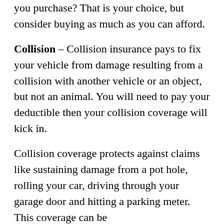you purchase? That is your choice, but consider buying as much as you can afford.
Collision – Collision insurance pays to fix your vehicle from damage resulting from a collision with another vehicle or an object, but not an animal. You will need to pay your deductible then your collision coverage will kick in.
Collision coverage protects against claims like sustaining damage from a pot hole, rolling your car, driving through your garage door and hitting a parking meter. This coverage can be